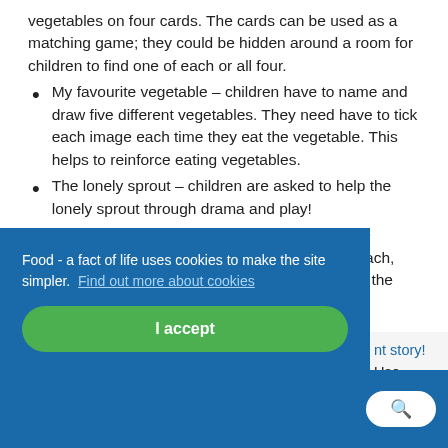vegetables on four cards. The cards can be used as a matching game; they could be hidden around a room for children to find one of each or all four.
My favourite vegetable – children have to name and draw five different vegetables. They need have to tick each image each time they eat the vegetable. This helps to reinforce eating vegetables.
The lonely sprout – children are asked to help the lonely sprout through drama and play!
What's the veg – the worksheet comprises five different vegetables. Children need to name each, and state how many there are of each type on the sheet.
Food - a fact of life uses cookies to make the site simpler. Find out more about cookies
nt story! Use are lots of
I accept